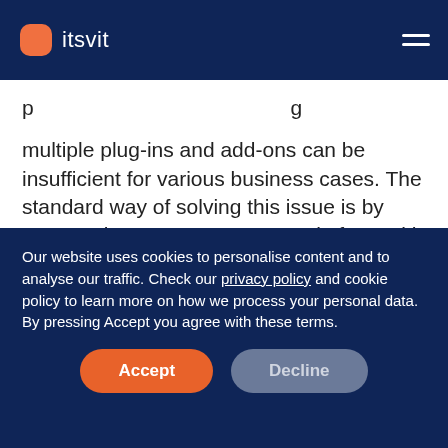itsvit
multiple plug-ins and add-ons can be insufficient for various business cases. The standard way of solving this issue is by augmenting your eCommerce platform with bespoke modules, custom-tailored to solve your unique challenges.
The standard issue with these custom modules is that
Our website uses cookies to personalise content and to analyse our traffic. Check our privacy policy and cookie policy to learn more on how we process your personal data. By pressing Accept you agree with these terms.